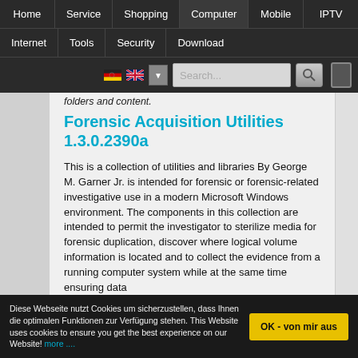Home | Service | Shopping | Computer | Mobile | IPTV | Internet | Tools | Security | Download
folders and content.
Forensic Acquisition Utilities 1.3.0.2390a
This is a collection of utilities and libraries By George M. Garner Jr. is intended for forensic or forensic-related investigative use in a modern Microsoft Windows environment. The components in this collection are intended to permit the investigator to sterilize media for forensic duplication, discover where logical volume information is located and to collect the evidence from a running computer system while at the same time ensuring data
Diese Webseite nutzt Cookies um sicherzustellen, dass Ihnen die optimalen Funktionen zur Verfügung stehen. This Website uses cookies to ensure you get the best experience on our Website! more ....